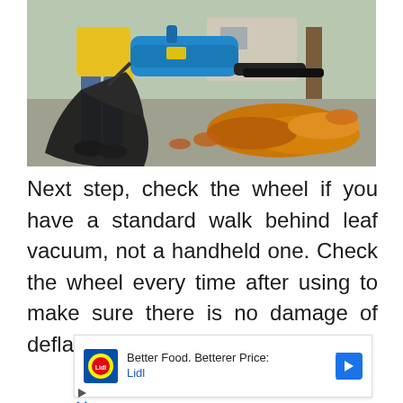[Figure (photo): Person using a blue handheld leaf blower/vacuum with a large black collection bag, collecting autumn leaves on a driveway/pathway outdoors. Fall foliage visible in background.]
Next step, check the wheel if you have a standard walk behind leaf vacuum, not a handheld one. Check the wheel every time after using to make sure there is no damage of deflation,
[Figure (infographic): Advertisement banner for Lidl: 'Better Food. Betterer Price: Lidl' with Lidl logo and navigation arrow icon]